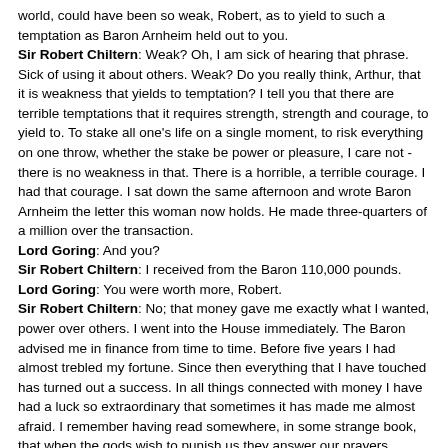world, could have been so weak, Robert, as to yield to such a temptation as Baron Arnheim held out to you. Sir Robert Chiltern: Weak? Oh, I am sick of hearing that phrase. Sick of using it about others. Weak? Do you really think, Arthur, that it is weakness that yields to temptation? I tell you that there are terrible temptations that it requires strength, strength and courage, to yield to. To stake all one's life on a single moment, to risk everything on one throw, whether the stake be power or pleasure, I care not - there is no weakness in that. There is a horrible, a terrible courage. I had that courage. I sat down the same afternoon and wrote Baron Arnheim the letter this woman now holds. He made three-quarters of a million over the transaction. Lord Goring: And you? Sir Robert Chiltern: I received from the Baron 110,000 pounds. Lord Goring: You were worth more, Robert. Sir Robert Chiltern: No; that money gave me exactly what I wanted, power over others. I went into the House immediately. The Baron advised me in finance from time to time. Before five years I had almost trebled my fortune. Since then everything that I have touched has turned out a success. In all things connected with money I have had a luck so extraordinary that sometimes it has made me almost afraid. I remember having read somewhere, in some strange book, that when the gods wish to punish us they answer our prayers. Lord Goring: But tell me, Robert, did you never suffer any regret for what you had done?